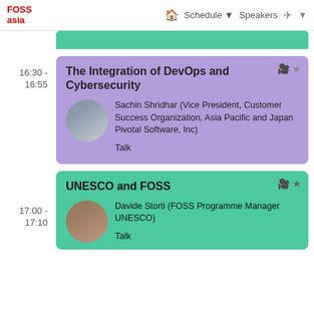FOSS Asia — Schedule ▼  Speakers ✈ ▼
16:30 - 16:55
The Integration of DevOps and Cybersecurity
Sachin Shridhar (Vice President, Customer Success Organization, Asia Pacific and Japan Pivotal Software, Inc)
Talk
17:00 - 17:10
UNESCO and FOSS
Davide Storti (FOSS Programme Manager UNESCO)
Talk